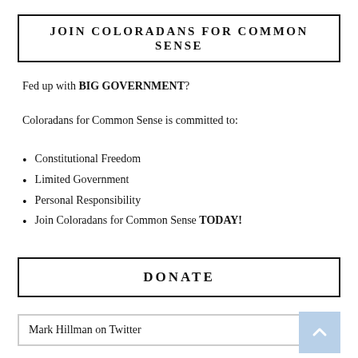JOIN COLORADANS FOR COMMON SENSE
Fed up with BIG GOVERNMENT?
Coloradans for Common Sense is committed to:
Constitutional Freedom
Limited Government
Personal Responsibility
Join Coloradans for Common Sense TODAY!
DONATE
Mark Hillman on Twitter